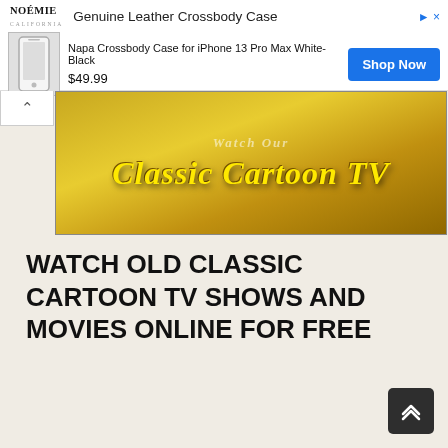[Figure (screenshot): Advertisement banner for NOÉMIE Genuine Leather Crossbody Case showing logo, product name 'Napa Crossbody Case for iPhone 13 Pro Max White-Black', price $49.99, Shop Now button, and phone case image]
[Figure (screenshot): Classic Cartoon TV website banner image showing animated cartoon characters and gold-styled 'Classic Cartoon TV' text logo]
WATCH OLD CLASSIC CARTOON TV SHOWS AND MOVIES ONLINE FOR FREE